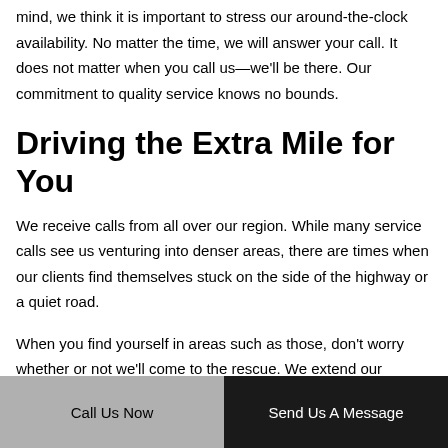mind, we think it is important to stress our around-the-clock availability. No matter the time, we will answer your call. It does not matter when you call us—we'll be there. Our commitment to quality service knows no bounds.
Driving the Extra Mile for You
We receive calls from all over our region. While many service calls see us venturing into denser areas, there are times when our clients find themselves stuck on the side of the highway or a quiet road.
When you find yourself in areas such as those, don't worry whether or not we'll come to the rescue. We extend our services to everyone in the greater Vestavia Hills region. Call us, and we'll be
Call Us Now    Send Us A Message